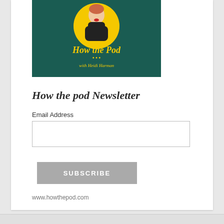[Figure (illustration): Podcast cover art for 'How the Pod' with Heidi Harman. Dark teal background with yellow circle containing an illustrated figure in a black turtleneck. Text reads 'How the Pod ... with Heidi Harman' in yellow/gold serif font.]
How the pod Newsletter
Email Address
SUBSCRIBE
www.howthepod.com